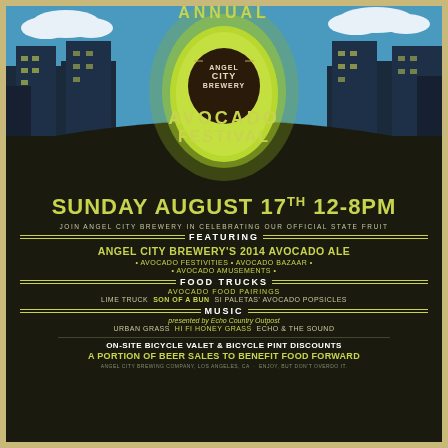[Figure (illustration): Art deco style event poster illustration showing a city skyline silhouette with dark buildings against a blue sky with clouds, and a large glowing avocado-shaped oval in the center containing the Angel City Brewery logo. Text 'ANNUAL' appears at top and 'AVOCADO FESTIVAL' appears below the logo in yellow-green lettering.]
SUNDAY AUGUST 17TH 12-8PM
JOIN ANGEL CITY BREWERY IN CELEBRATING OUR OFFICIAL STATE FRUIT
FEATURING
ANGEL CITY BREWERY'S 2014 AVOCADO ALE
• AVOCADO FESTIVITIES • AVOCADO BAZAAR •
• AVOCADO AMUSEMENTS •
FOOD TRUCKS
AVOCADO FOOD PAIRINGS
LIME TRUCK  SON OF A BUN  SI PALETAS' AVOCADO POPSICLES
MUSIC
presented by Echo Country Outpost
URBAN GRASS  HI FI HONEY GRASS  ECHO & THE SOUND
ON-SITE BICYCLE VALET & BICYCLE PINT DISCOUNTS
A PORTION OF BEER SALES TO BENEFIT FOOD FORWARD
ANGEL CITY BREWING COMPANY, LOS ANGELES, CA · ENJOY, BUT DON'T OVERDO IT.